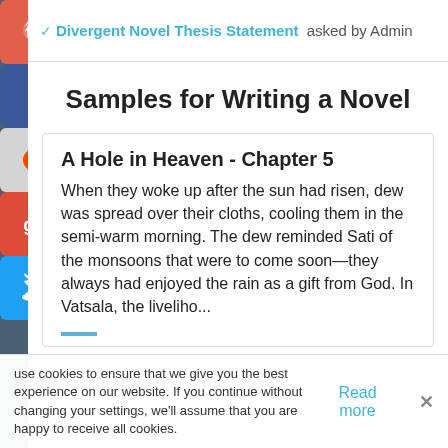Divergent Novel Thesis Statement asked by Admin
Samples for Writing a Novel
A Hole in Heaven - Chapter 5
When they woke up after the sun had risen, dew was spread over their cloths, cooling them in the semi-warm morning. The dew reminded Sati of the monsoons that were to come soon—they always had enjoyed the rain as a gift from God. In Vatsala, the liveliho...
use cookies to ensure that we give you the best experience on our website. If you continue without changing your settings, we'll assume that you are happy to receive all cookies.